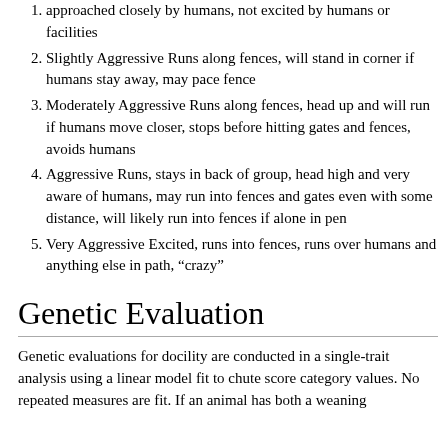1. Not Aggressive (docile) Trains slowly, can be approached closely by humans, not excited by humans or facilities
2. Slightly Aggressive Runs along fences, will stand in corner if humans stay away, may pace fence
3. Moderately Aggressive Runs along fences, head up and will run if humans move closer, stops before hitting gates and fences, avoids humans
4. Aggressive Runs, stays in back of group, head high and very aware of humans, may run into fences and gates even with some distance, will likely run into fences if alone in pen
5. Very Aggressive Excited, runs into fences, runs over humans and anything else in path, “crazy”
Genetic Evaluation
Genetic evaluations for docility are conducted in a single-trait analysis using a linear model fit to chute score category values. No repeated measures are fit. If an animal has both a weaning